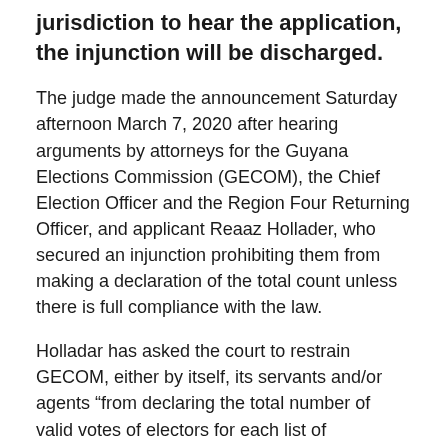jurisdiction to hear the application, the injunction will be discharged.
The judge made the announcement Saturday afternoon March 7, 2020 after hearing arguments by attorneys for the Guyana Elections Commission (GECOM), the Chief Election Officer and the Region Four Returning Officer, and applicant Reaaz Hollader, who secured an injunction prohibiting them from making a declaration of the total count unless there is full compliance with the law.
Holladar has asked the court to restrain GECOM, either by itself, its servants and/or agents “from declaring the total number of valid votes of electors for each list of candidates” recorded in the March 2 general and regional elections “until and unless” Region Four Returning Officer Clairmont Mingo and Chief Election Officer Keith